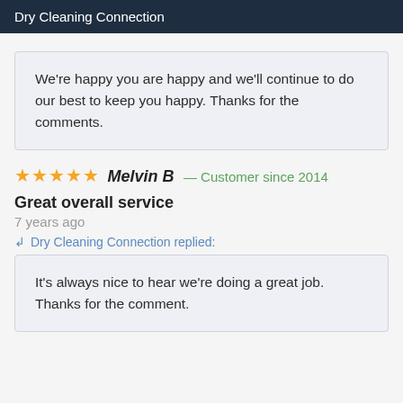Dry Cleaning Connection
We're happy you are happy and we'll continue to do our best to keep you happy. Thanks for the comments.
★★★★★ Melvin B — Customer since 2014
Great overall service
7 years ago
↲ Dry Cleaning Connection replied:
It's always nice to hear we're doing a great job. Thanks for the comment.